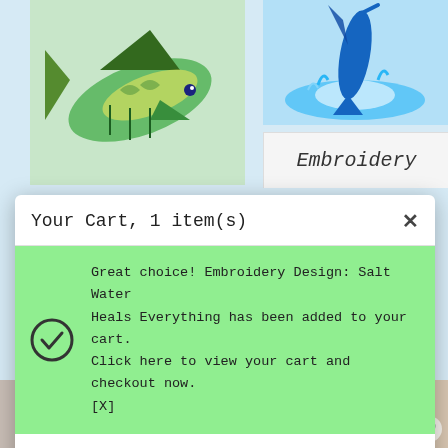[Figure (illustration): Colorful fish/mahi illustration in green and yellow tones, top-left product thumbnail]
[Figure (illustration): Fish jumping out of blue water, top-right product thumbnail]
Embroidery
Your Cart, 1 item(s)
Great choice! Embroidery Design: Salt Water Heals Everything has been added to your cart. Click here to view your cart and checkout now. [X]
[Figure (illustration): Salt Water embroidery design with turtle, palm trees, starfish, and crabs on light fabric]
$3.95
Embroidery Design: Salt Water Water Heals Everything
[Figure (illustration): Bottom-left partial product image with heart icon]
[Figure (illustration): Bottom-right partial product image (fish/animal) with heart icon]